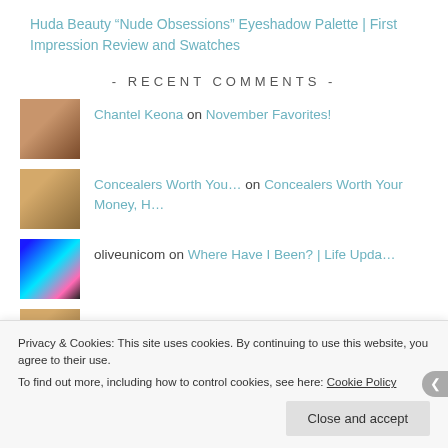Huda Beauty “Nude Obsessions” Eyeshadow Palette | First Impression Review and Swatches
- RECENT COMMENTS -
Chantel Keona on November Favorites!
Concealers Worth You… on Concealers Worth Your Money, H…
oliveunicom on Where Have I Been? | Life Upda…
Privacy & Cookies: This site uses cookies. By continuing to use this website, you agree to their use.
To find out more, including how to control cookies, see here: Cookie Policy
Close and accept